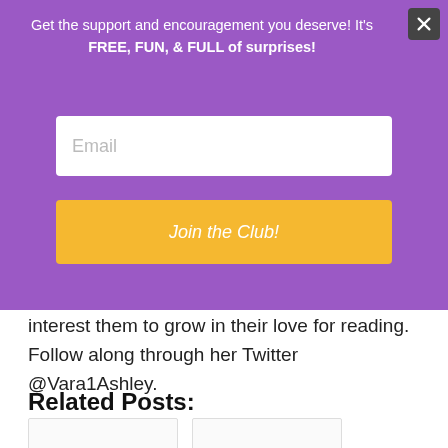Get the support and encouragement you deserve! It's FREE, FUN, & FULL of surprises!
Email
Join the Club!
interest them to grow in their love for reading. Follow along through her Twitter @Vara1Ashley.
Related Posts:
[Figure (other): Two blank related post card thumbnails]
[Figure (other): Close button (X) in dark square, top right of popup]